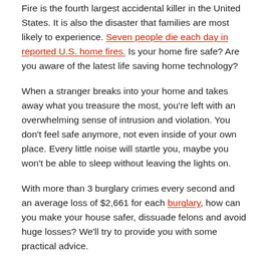Fire is the fourth largest accidental killer in the United States. It is also the disaster that families are most likely to experience. Seven people die each day in reported U.S. home fires. Is your home fire safe? Are you aware of the latest life saving home technology?
When a stranger breaks into your home and takes away what you treasure the most, you're left with an overwhelming sense of intrusion and violation. You don't feel safe anymore, not even inside of your own place. Every little noise will startle you, maybe you won't be able to sleep without leaving the lights on.
With more than 3 burglary crimes every second and an average loss of $2,661 for each burglary, how can you make your house safer, dissuade felons and avoid huge losses? We'll try to provide you with some practical advice.